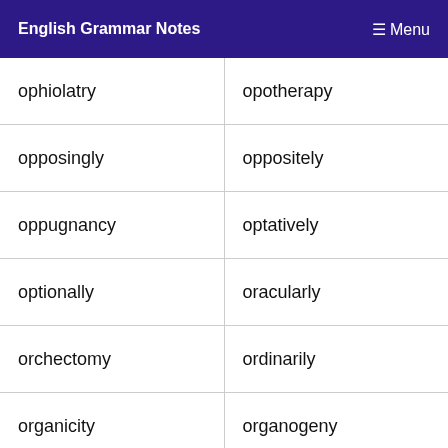English Grammar Notes  ≡ Menu
| ophiolatry | opotherapy |
| opposingly | oppositely |
| oppugnancy | optatively |
| optionally | oracularly |
| orchectomy | ordinarily |
| organicity | organogeny |
| organology | orgulously |
| orientally | originally |
| orinasally | orismology |
| oronasally | oropharynx |